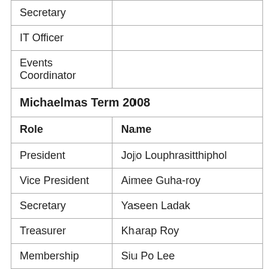| Role | Name |
| --- | --- |
| Secretary |  |
| IT Officer |  |
| Events Coordinator |  |
| Michaelmas Term 2008 |  |
| Role | Name |
| President | Jojo Louphrasitthiphol |
| Vice President | Aimee Guha-roy |
| Secretary | Yaseen Ladak |
| Treasurer | Kharap Roy |
| Membership | Siu Po Lee |